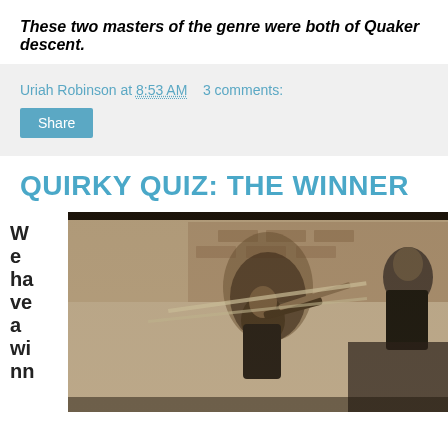These two masters of the genre were both of Quaker descent.
Uriah Robinson at 8:53 AM   3 comments:
Share
QUIRKY QUIZ: THE WINNER
We have a winn
[Figure (photo): Black and white vintage photograph of a man playing a clarinet or similar wind instrument outdoors near a brick building, with another figure visible in the background.]